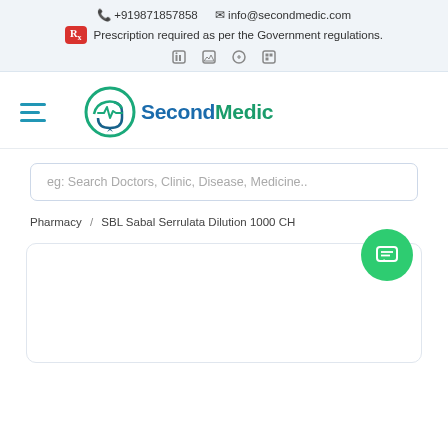📞 +919871857858  ✉ info@secondmedic.com
Rx  Prescription required as per the Government regulations.
[Figure (logo): SecondMedic logo with circular heartbeat/chat icon in teal/green and blue, with text 'SecondMedic']
eg: Search Doctors, Clinic, Disease, Medicine..
Pharmacy  /  SBL Sabal Serrulata Dilution 1000 CH